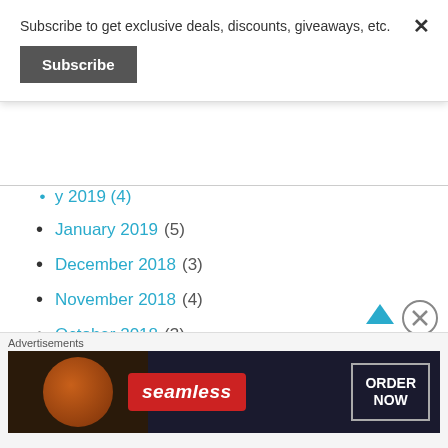Subscribe to get exclusive deals, discounts, giveaways, etc.
Subscribe
January 2019 (5)
December 2018 (3)
November 2018 (4)
October 2018 (3)
September 2018 (1)
August 2018 (4)
July 2018 (2)
Advertisements
[Figure (screenshot): Seamless food delivery advertisement banner showing pizza and 'ORDER NOW' text]